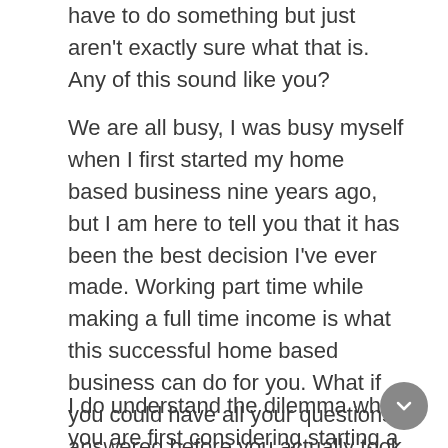have to do something but just aren't exactly sure what that is. Any of this sound like you?
We are all busy, I was busy myself when I first started my home based business nine years ago, but I am here to tell you that it has been the best decision I've ever made. Working part time while making a full time income is what this successful home based business can do for you. What if you could have all your questions answered before you actually took that leap of faith and jumped into an online business?
I do understand the dilemma when you are first considering starting a home based business. I